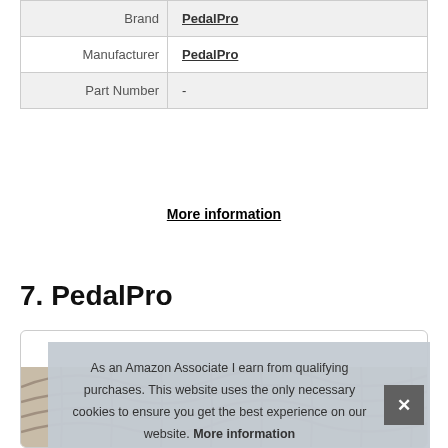| Brand | PedalPro |
| Manufacturer | PedalPro |
| Part Number | - |
More information
7. PedalPro
[Figure (photo): Card box with partial image of wicker basket at bottom]
As an Amazon Associate I earn from qualifying purchases. This website uses the only necessary cookies to ensure you get the best experience on our website. More information